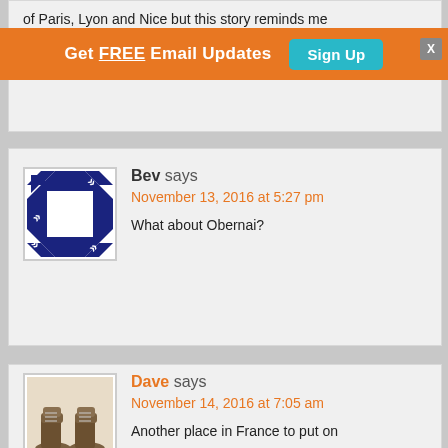of Paris, Lyon and Nice but this story reminds me done!
[Figure (infographic): Orange banner with white bold text 'Get FREE Email Updates', a teal 'Sign Up' button, and a gray X close button]
[Figure (illustration): Blue and white geometric quilt-pattern avatar for commenter Bev]
Bev says
November 13, 2016 at 5:27 pm
What about Obernai?
[Figure (photo): Sepia-toned photo of worn hiking boots for commenter Dave]
Dave says
November 14, 2016 at 7:05 am
Another place in France to put on